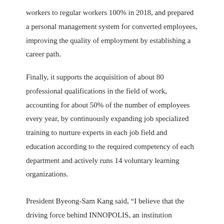workers to regular workers 100% in 2018, and prepared a personal management system for converted employees, improving the quality of employment by establishing a career path.
Finally, it supports the acquisition of about 80 professional qualifications in the field of work, accounting for about 50% of the number of employees every year, by continuously expanding job specialized training to nurture experts in each job field and education according to the required competency of each department and actively runs 14 voluntary learning organizations.
President Byeong-Sam Kang said, “I believe that the driving force behind INNOPOLIS, an institution specializing in technology commercialization, is the result of efforts to enhance the ‘professionalism’ of our members and open ‘innovation’ that is not afraid of change. Taking the opportunity to receive the Presidential Citation from the National Quality Innovation Award, we will work harder to improve the professionalism of our